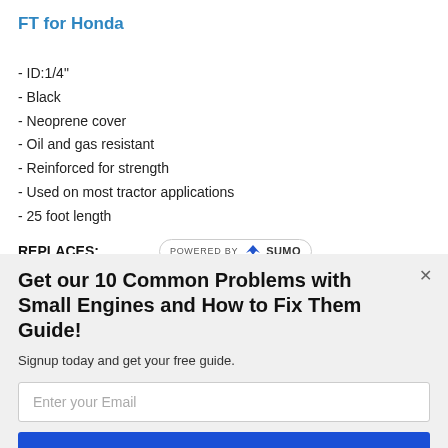FT for Honda
- ID:1/4"
- Black
- Neoprene cover
- Oil and gas resistant
- Reinforced for strength
- Used on most tractor applications
- 25 foot length
REPLACES:
[Figure (logo): POWERED BY SUMO badge with crown icon]
Get our 10 Common Problems with Small Engines and How to Fix Them Guide!
Signup today and get your free guide.
Enter your Email
Subscribe Now